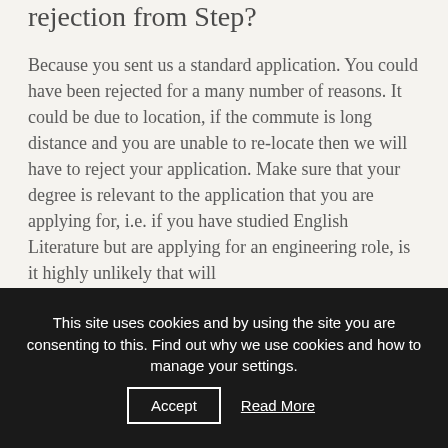rejection from Step?
Because you sent us a standard application. You could have been rejected for a many number of reasons. It could be due to location, if the commute is long distance and you are unable to re-locate then we will have to reject your application. Make sure that your degree is relevant to the application that you are applying for, i.e. if you have studied English Literature but are applying for an engineering role, is it highly unlikely that will
This site uses cookies and by using the site you are consenting to this. Find out why we use cookies and how to manage your settings.